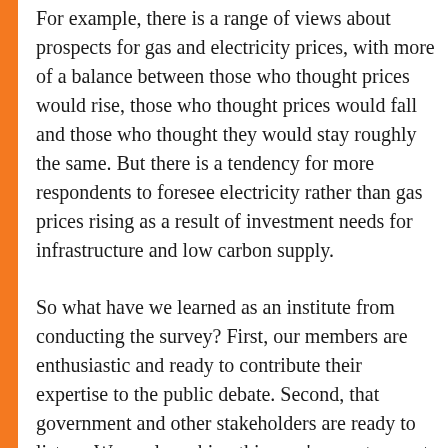For example, there is a range of views about prospects for gas and electricity prices, with more of a balance between those who thought prices would rise, those who thought prices would fall and those who thought they would stay roughly the same. But there is a tendency for more respondents to foresee electricity rather than gas prices rising as a result of investment needs for infrastructure and low carbon supply.
So what have we learned as an institute from conducting the survey? First, our members are enthusiastic and ready to contribute their expertise to the public debate. Second, that government and other stakeholders are ready to listen.  We are launching this year's report as part of the Energy Centre as a forum or renewed debate.